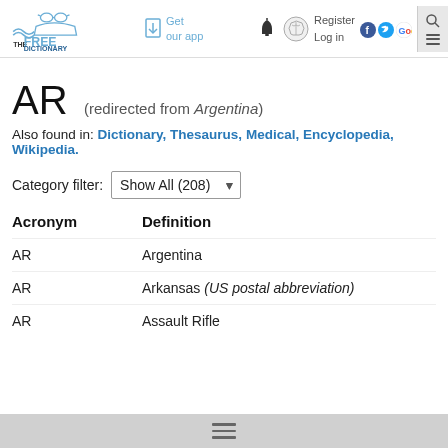The Free Dictionary by Farlex — Get our app — Register, Log in
AR (redirected from Argentina)
Also found in: Dictionary, Thesaurus, Medical, Encyclopedia, Wikipedia.
Category filter: Show All (208)
| Acronym | Definition |
| --- | --- |
| AR | Argentina |
| AR | Arkansas (US postal abbreviation) |
| AR | Assault Rifle |